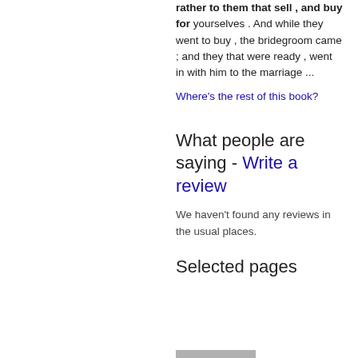rather to them that sell , and buy for yourselves . And while they went to buy , the bridegroom came ; and they that were ready , went in with him to the marriage ...
Where's the rest of this book?
What people are saying - Write a review
We haven't found any reviews in the usual places.
Selected pages